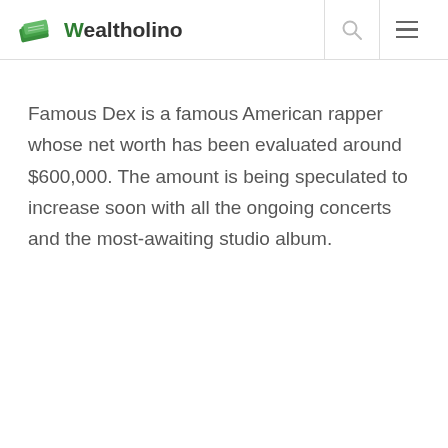Wealtholino
Famous Dex is a famous American rapper whose net worth has been evaluated around $600,000. The amount is being speculated to increase soon with all the ongoing concerts and the most-awaiting studio album.